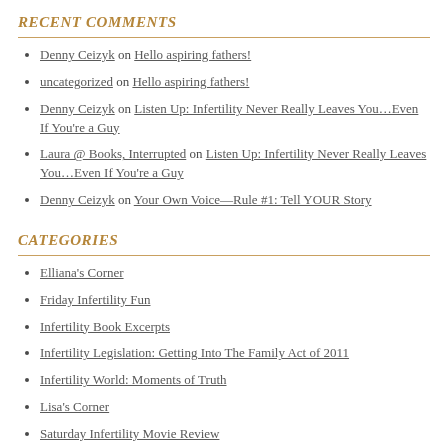RECENT COMMENTS
Denny Ceizyk on Hello aspiring fathers!
uncategorized on Hello aspiring fathers!
Denny Ceizyk on Listen Up: Infertility Never Really Leaves You…Even If You're a Guy
Laura @ Books, Interrupted on Listen Up: Infertility Never Really Leaves You…Even If You're a Guy
Denny Ceizyk on Your Own Voice—Rule #1: Tell YOUR Story
CATEGORIES
Elliana's Corner
Friday Infertility Fun
Infertility Book Excerpts
Infertility Legislation: Getting Into The Family Act of 2011
Infertility World: Moments of Truth
Lisa's Corner
Saturday Infertility Movie Review
Straight To The Guy Talk
Sunday Faith and Infertility Inspiration